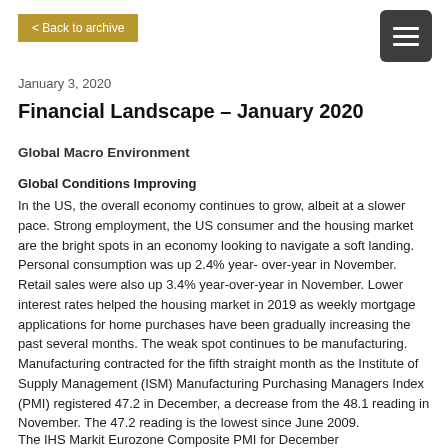< Back to archive
January 3, 2020
Financial Landscape – January 2020
Global Macro Environment
Global Conditions Improving
In the US, the overall economy continues to grow, albeit at a slower pace. Strong employment, the US consumer and the housing market are the bright spots in an economy looking to navigate a soft landing. Personal consumption was up 2.4% year- over-year in November. Retail sales were also up 3.4% year-over-year in November. Lower interest rates helped the housing market in 2019 as weekly mortgage applications for home purchases have been gradually increasing the past several months. The weak spot continues to be manufacturing. Manufacturing contracted for the fifth straight month as the Institute of Supply Management (ISM) Manufacturing Purchasing Managers Index (PMI) registered 47.2 in December, a decrease from the 48.1 reading in November. The 47.2 reading is the lowest since June 2009.
The IHS Markit Eurozone Composite PMI for December...